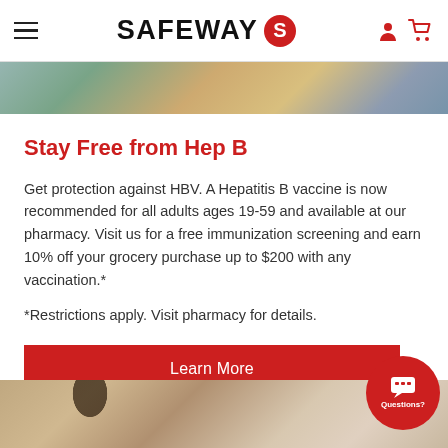SAFEWAY
[Figure (photo): Top photo strip showing people, partially visible at top of page]
Stay Free from Hep B
Get protection against HBV. A Hepatitis B vaccine is now recommended for all adults ages 19-59 and available at our pharmacy. Visit us for a free immunization screening and earn 10% off your grocery purchase up to $200 with any vaccination.*
*Restrictions apply. Visit pharmacy for details.
Learn More
[Figure (photo): Bottom photo strip showing woman smiling, partially visible at bottom of page]